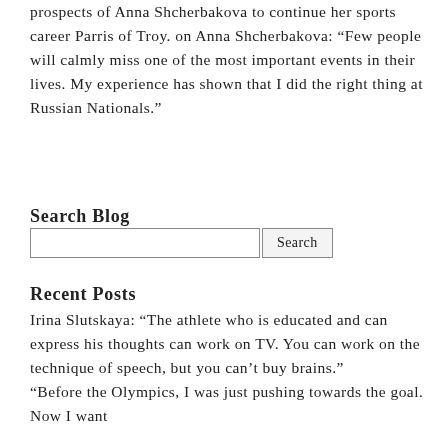prospects of Anna Shcherbakova to continue her sports career Parris of Troy. on Anna Shcherbakova: “Few people will calmly miss one of the most important events in their lives. My experience has shown that I did the right thing at Russian Nationals.”
Search Blog
[Search input field] [Search button]
Recent Posts
Irina Slutskaya: “The athlete who is educated and can express his thoughts can work on TV. You can work on the technique of speech, but you can’t buy brains.” “Before the Olympics, I was just pushing towards the goal. Now I want